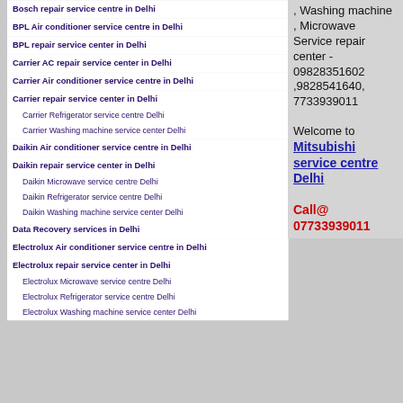Bosch repair service centre in Delhi
BPL Air conditioner service centre in Delhi
BPL repair service center in Delhi
Carrier AC repair service center in Delhi
Carrier Air conditioner service centre in Delhi
Carrier repair service center in Delhi
Carrier Refrigerator service centre Delhi
Carrier Washing machine service center Delhi
Daikin Air conditioner service centre in Delhi
Daikin repair service center in Delhi
Daikin Microwave service centre Delhi
Daikin Refrigerator service centre Delhi
Daikin Washing machine service center Delhi
Data Recovery services in Delhi
Electrolux Air conditioner service centre in Delhi
Electrolux repair service center in Delhi
Electrolux Microwave service centre Delhi
Electrolux Refrigerator service centre Delhi
Electrolux Washing machine service center Delhi
, Washing machine , Microwave Service repair center - 09828351602 ,9828541640, 7733939011
Welcome to Mitsubishi service centre Delhi
Call@ 07733939011